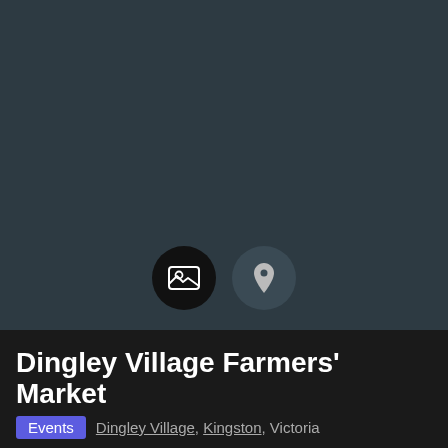[Figure (screenshot): Dark gray placeholder image area with two circular icon buttons at the bottom center: a black circle with a photo/image icon and a dark gray circle with a location pin icon]
Dingley Village Farmers' Market
Events   Dingley Village, Kingston, Victoria